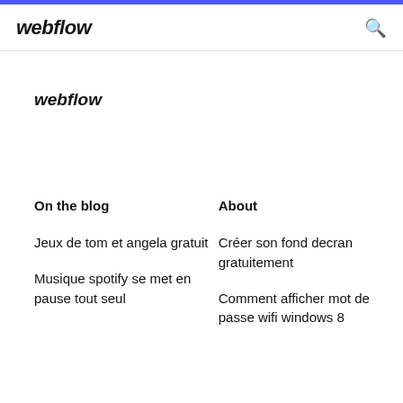webflow
webflow
On the blog
About
Jeux de tom et angela gratuit
Créer son fond decran gratuitement
Musique spotify se met en pause tout seul
Comment afficher mot de passe wifi windows 8